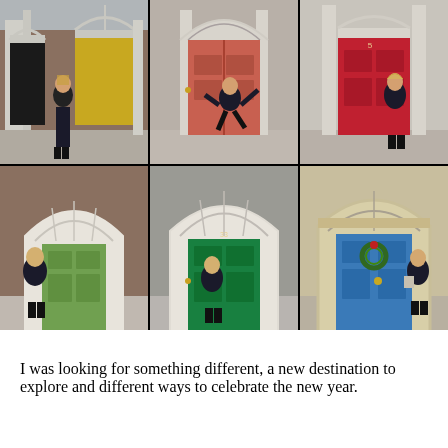[Figure (photo): 6-photo collage (2 rows × 3 columns) of a woman posing in front of colorful Georgian doors in Dublin. Top row left: black door + yellow door; top row center: orange/salmon door (woman jumping); top row right: red door. Bottom row left: white arch with green door; bottom row center: white arch with green door; bottom row right: beige arch with blue door and Christmas wreath.]
I was looking for something different, a new destination to explore and different ways to celebrate the new year.